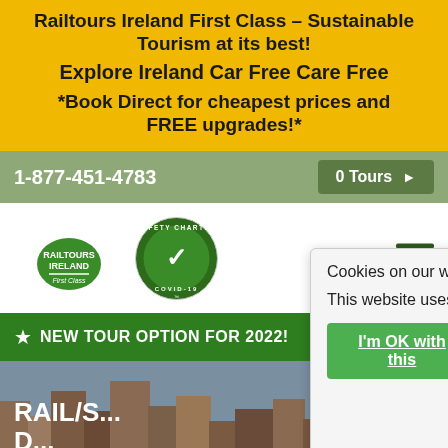Railtours Ireland First Class – Sustainable Tourism at its best!
Explore Ireland Car Free Care Free
*Book Direct for cheapest prices and FREE upgrades!*
1-877-451-4783
0 Tours
[Figure (logo): Railtours Ireland First Class logo with green Ireland map shape]
[Figure (logo): COVID Safety Charter circular badge with green checkmark]
NEW TOUR OPTION FOR 2022!
[Figure (photo): Aerial photo of Dublin city with buildings and river visible]
RAIL/S... D...
• Travel by Train and Ferry to Dublin's Fair City from any rail station in Zone A (UK)
Cookies on our website:
This website uses cookies.
I'm OK with this
Cookie Settings